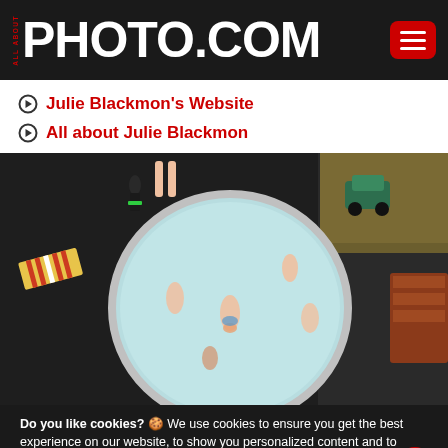ALL ABOUT PHOTO.COM
Julie Blackmon's Website
All about Julie Blackmon
[Figure (photo): Aerial view of children in a round metal stock tank pool on dark pavement, with a striped chair, toy car, and wooden bench nearby, and a patch of dry grass in the upper right.]
Do you like cookies? 🍪 We use cookies to ensure you get the best experience on our website, to show you personalized content and to analyze our website traffic.
Learn more | I AGREE